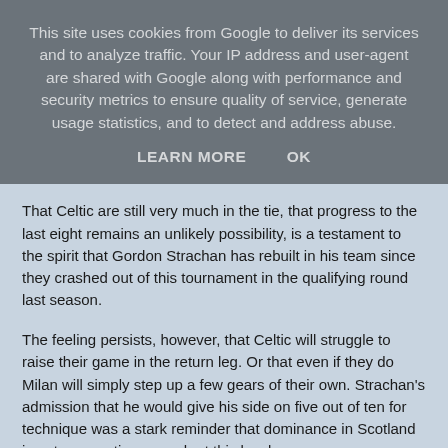This site uses cookies from Google to deliver its services and to analyze traffic. Your IP address and user-agent are shared with Google along with performance and security metrics to ensure quality of service, generate usage statistics, and to detect and address abuse.
LEARN MORE    OK
That Celtic are still very much in the tie, that progress to the last eight remains an unlikely possibility, is a testament to the spirit that Gordon Strachan has rebuilt in his team since they crashed out of this tournament in the qualifying round last season.
The feeling persists, however, that Celtic will struggle to raise their game in the return leg. Or that even if they do Milan will simply step up a few gears of their own. Strachan's admission that he would give his side on five out of ten for technique was a stark reminder that dominance in Scotland is not preparation enough at this level.